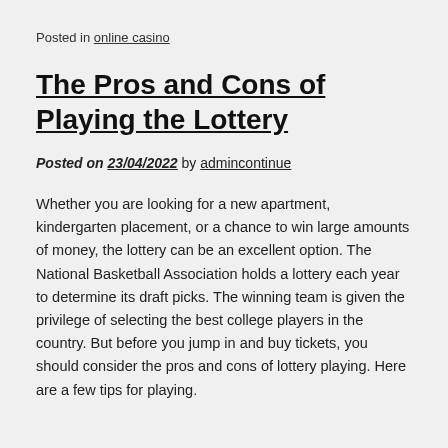Posted in online casino
The Pros and Cons of Playing the Lottery
Posted on 23/04/2022 by admincontinue
Whether you are looking for a new apartment, kindergarten placement, or a chance to win large amounts of money, the lottery can be an excellent option. The National Basketball Association holds a lottery each year to determine its draft picks. The winning team is given the privilege of selecting the best college players in the country. But before you jump in and buy tickets, you should consider the pros and cons of lottery playing. Here are a few tips for playing.